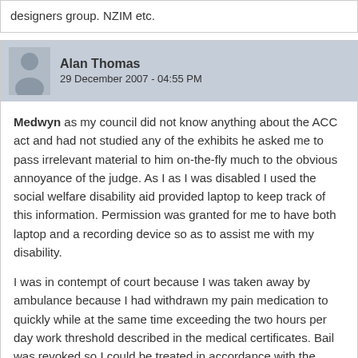designers group. NZIM etc.
Alan Thomas
29 December 2007 - 04:55 PM
Medwyn as my council did not know anything about the ACC act and had not studied any of the exhibits he asked me to pass irrelevant material to him on-the-fly much to the obvious annoyance of the judge. As I as I was disabled I used the social welfare disability aid provided laptop to keep track of this information. Permission was granted for me to have both laptop and a recording device so as to assist me with my disability.
I was in contempt of court because I was taken away by ambulance because I had withdrawn my pain medication to quickly while at the same time exceeding the two hours per day work threshold described in the medical certificates. Bail was revoked so I could be treated in accordance with the judges medical prescription of forced medication withdrawal in Mount Eden prison. It does seem that torture has been permitted by the courts in New Zealand.
Medwyn you must understand that due to the controversial nature of the situation at the judge used the strongest language he could